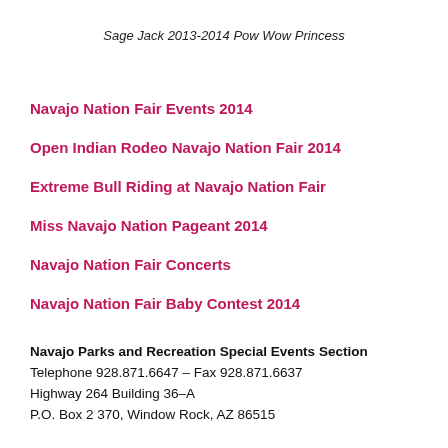Sage Jack 2013-2014 Pow Wow Princess
Navajo Nation Fair Events 2014
Open Indian Rodeo Navajo Nation Fair 2014
Extreme Bull Riding at Navajo Nation Fair
Miss Navajo Nation Pageant 2014
Navajo Nation Fair Concerts
Navajo Nation Fair Baby Contest 2014
Navajo Parks and Recreation Special Events Section
Telephone 928.871.6647 – Fax 928.871.6637
Highway 264 Building 36–A
P.O. Box 2 370, Window Rock, AZ 86515